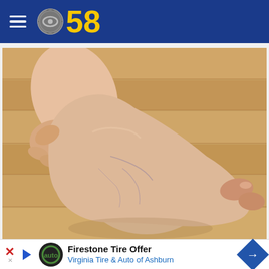CBS 58
[Figure (photo): Close-up photo of a person holding/examining a human foot and ankle, showing skin condition, placed on a wooden floor background. Related to plaque psoriasis.]
Do You Know What Plaque Psoriasis Is? (Take a Look)
Firestone Tire Offer
Virginia Tire & Auto of Ashburn